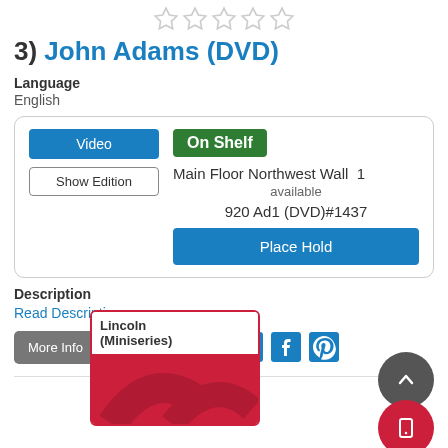[Figure (other): Five empty star rating icons]
3) John Adams (DVD)
Language
English
Video | Show Edition | On Shelf | Main Floor Northwest Wall 1 available | 920 Ad1 (DVD)#1437 | Place Hold
Description
Read Description
More Info | Add to list
[Figure (screenshot): Lincoln (Miniseries) book/DVD card with red cover illustration]
[Figure (other): Gray circular up-arrow FAB button and red circular device FAB button]